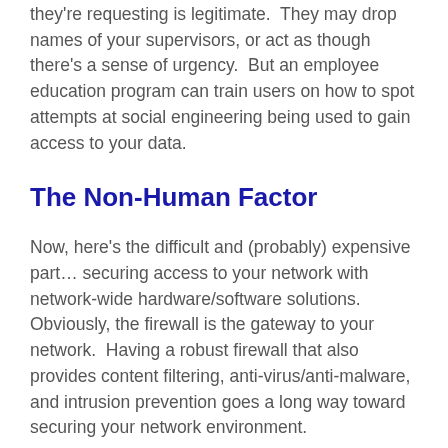they're requesting is legitimate.  They may drop names of your supervisors, or act as though there's a sense of urgency.  But an employee education program can train users on how to spot attempts at social engineering being used to gain access to your data.
The Non-Human Factor
Now, here's the difficult and (probably) expensive part… securing access to your network with network-wide hardware/software solutions.  Obviously, the firewall is the gateway to your network.  Having a robust firewall that also provides content filtering, anti-virus/anti-malware, and intrusion prevention goes a long way toward securing your network environment.
Of course, the newer firewalls that provide these services are pricey.  I've seen it first hand that many managers are unwilling, or unable, to spend a few thousand for a piece of